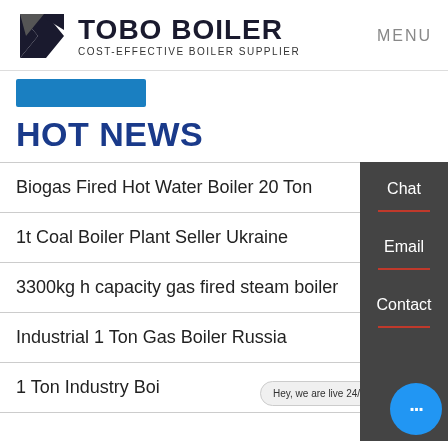TOBO BOILER — COST-EFFECTIVE BOILER SUPPLIER | MENU
HOT NEWS
Biogas Fired Hot Water Boiler 20 Ton
1t Coal Boiler Plant Seller Ukraine
3300kg h capacity gas fired steam boiler
Industrial 1 Ton Gas Boiler Russia
1 Ton Industry Boiler…
Hey, we are live 24/7. How may I help you?